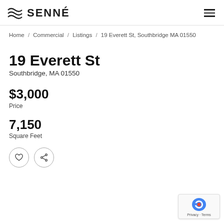SENNÉ
Home / Commercial / Listings / 19 Everett St, Southbridge MA 01550
19 Everett St
Southbridge, MA 01550
$3,000
Price
7,150
Square Feet